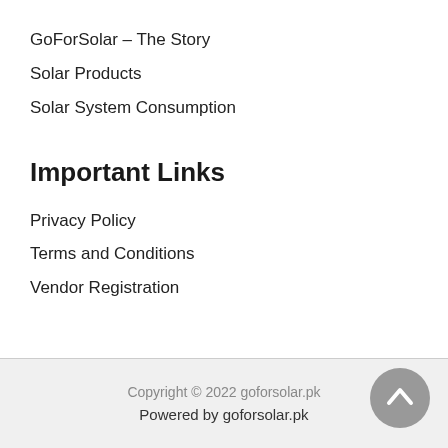GoForSolar – The Story
Solar Products
Solar System Consumption
Important Links
Privacy Policy
Terms and Conditions
Vendor Registration
Copyright © 2022 goforsolar.pk
Powered by goforsolar.pk